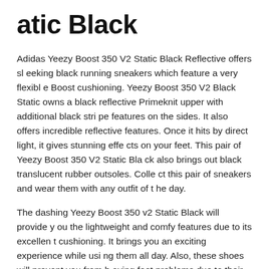atic Black
Adidas Yeezy Boost 350 V2 Static Black Reflective offers sleeking black running sneakers which feature a very flexible Boost cushioning. Yeezy Boost 350 V2 Black Static owns a black reflective Primeknit upper with additional black stripe features on the sides. It also offers incredible reflective features. Once it hits by direct light, it gives stunning effects on your feet. This pair of Yeezy Boost 350 V2 Static Black also brings out black translucent rubber outsoles. Collect this pair of sneakers and wear them with any outfit of the day.
The dashing Yeezy Boost 350 v2 Static Black will provide you the lightweight and comfy features due to its excellent cushioning. It brings you an exciting experience while using them all day. Also, these shoes will prevent you from having foot problems due to their high-end construction. T